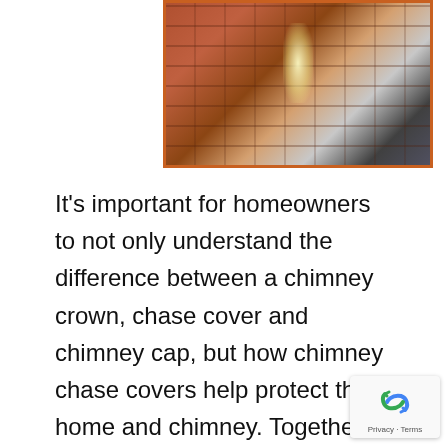[Figure (photo): Photo showing a brick chimney in an indoor setting, with bright light behind it and a person in dark clothing visible on the right side.]
It's important for homeowners to not only understand the difference between a chimney crown, chase cover and chimney cap, but how chimney chase covers help protect their home and chimney. Together, these three critical components are the most visible, forming a protective barrier to keep water, small animals and debris out of